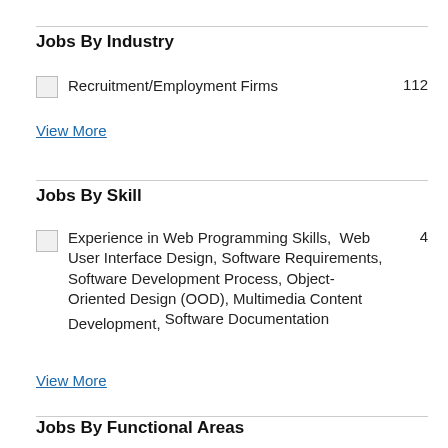Jobs By Industry
Recruitment/Employment Firms  112
View More
Jobs By Skill
Experience in Web Programming Skills, Web User Interface Design, Software Requirements, Software Development Process, Object-Oriented Design (OOD), Multimedia Content Development, Software Documentation  4
View More
Jobs By Functional Areas